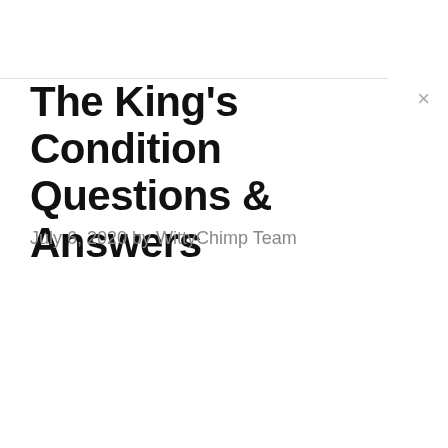The King's Condition Questions & Answers
July 6, 2020 by WittyChimp Team